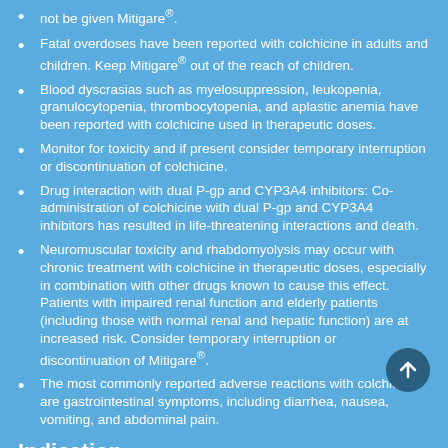not be given Mitigare®.
Fatal overdoses have been reported with colchicine in adults and children. Keep Mitigare® out of the reach of children.
Blood dyscrasias such as myelosuppression, leukopenia, granulocytopenia, thrombocytopenia, and aplastic anemia have been reported with colchicine used in therapeutic doses.
Monitor for toxicity and if present consider temporary interruption or discontinuation of colchicine.
Drug interaction with dual P-gp and CYP3A4 inhibitors: Co-administration of colchicine with dual P-gp and CYP3A4 inhibitors has resulted in life-threatening interactions and death.
Neuromuscular toxicity and rhabdomyolysis may occur with chronic treatment with colchicine in therapeutic doses, especially in combination with other drugs known to cause this effect. Patients with impaired renal function and elderly patients (including those with normal renal and hepatic function) are at increased risk. Consider temporary interruption or discontinuation of Mitigare®.
The most commonly reported adverse reactions with colchicine are gastrointestinal symptoms, including diarrhea, nausea, vomiting, and abdominal pain.
Indication
Mitigare® is indicated for prophylaxis of gout flares in adults. The